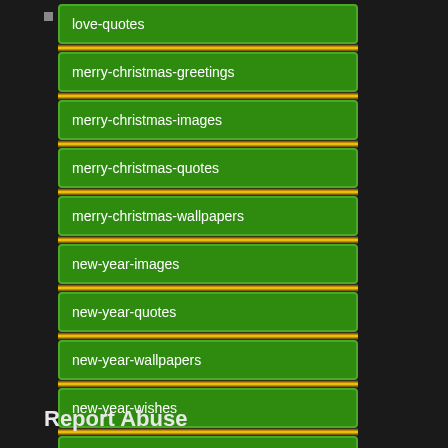love-quotes
merry-christmas-greetings
merry-christmas-images
merry-christmas-quotes
merry-christmas-wallpapers
new-year-images
new-year-quotes
new-year-wallpapers
new-year-wishes
romantic-quotes
Report Abuse